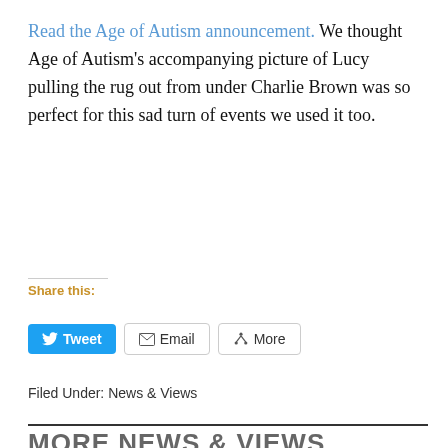Read the Age of Autism announcement. We thought Age of Autism's accompanying picture of Lucy pulling the rug out from under Charlie Brown was so perfect for this sad turn of events we used it too.
Share this:
[Figure (infographic): Social share buttons: Tweet (blue Twitter button), Email (with envelope icon), More (with share icon)]
Filed Under: News & Views
MORE NEWS & VIEWS